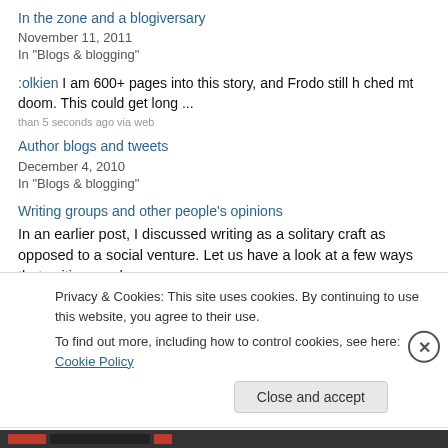In the zone and a blogiversary
November 11, 2011
In "Blogs & blogging"
:olkien I am 600+ pages into this story, and Frodo still h ched mt doom. This could get long ...
than 5 seconds ago via web
Author blogs and tweets
December 4, 2010
In "Blogs & blogging"
Writing groups and other people's opinions
In an earlier post, I discussed writing as a solitary craft as opposed to a social venture. Let us have a look at a few ways that writing can be
Privacy & Cookies: This site uses cookies. By continuing to use this website, you agree to their use. To find out more, including how to control cookies, see here: Cookie Policy
Close and accept